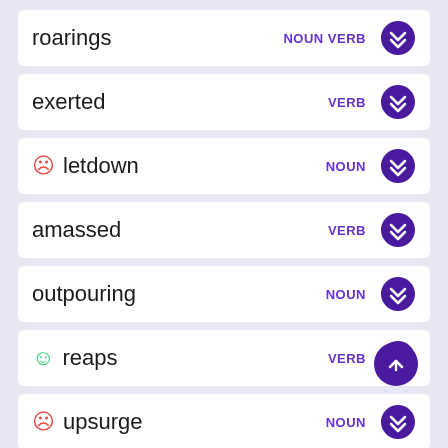roarings — NOUN VERB
exerted — VERB
letdown — NOUN
amassed — VERB
outpouring — NOUN
reaps — VERB
upsurge — NOUN